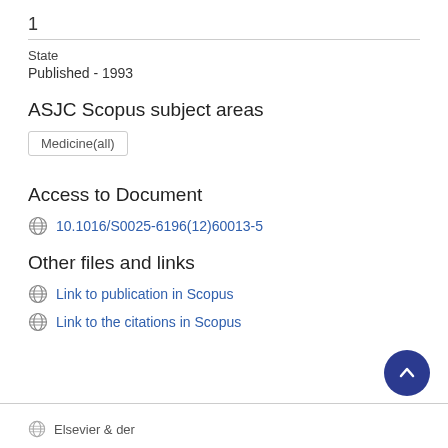1
State
Published - 1993
ASJC Scopus subject areas
Medicine(all)
Access to Document
10.1016/S0025-6196(12)60013-5
Other files and links
Link to publication in Scopus
Link to the citations in Scopus